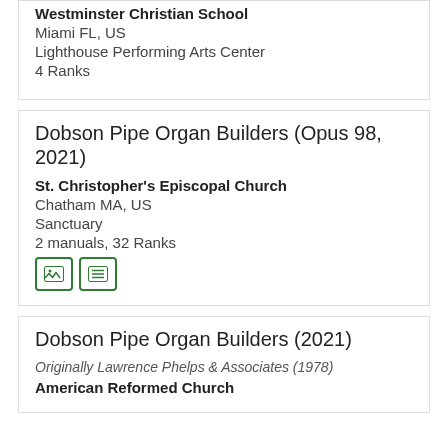Westminster Christian School
Miami FL, US
Lighthouse Performing Arts Center
4 Ranks
Dobson Pipe Organ Builders (Opus 98, 2021)
St. Christopher's Episcopal Church
Chatham MA, US
Sanctuary
2 manuals, 32 Ranks
Dobson Pipe Organ Builders (2021)
Originally Lawrence Phelps & Associates (1978)
American Reformed Church